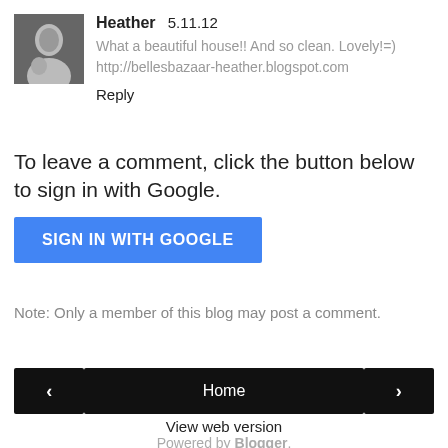[Figure (photo): Small avatar photo of a person (Heather) in black and white]
Heather 5.11.12
What a beautiful house!! And so clean. Lovely!=)
http://bellesbazaar-heather.blogspot.com
Reply
To leave a comment, click the button below to sign in with Google.
SIGN IN WITH GOOGLE
Note: Only a member of this blog may post a comment.
‹
Home
›
View web version
Powered by Blogger.